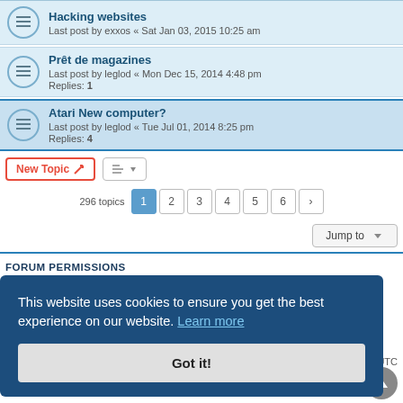Hacking websites — Last post by exxos « Sat Jan 03, 2015 10:25 am
Prêt de magazines — Last post by leglod « Mon Dec 15, 2014 4:48 pm — Replies: 1
Atari New computer? — Last post by leglod « Tue Jul 01, 2014 8:25 pm — Replies: 4
New Topic  |  Sort  |  296 topics  1 2 3 4 5 6 >
Jump to
FORUM PERMISSIONS
This website uses cookies to ensure you get the best experience on our website. Learn more
Got it!
es are UTC